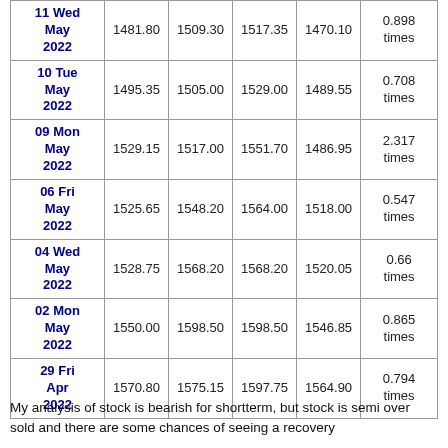| Date | Close | Open | High | Low | Volume |
| --- | --- | --- | --- | --- | --- |
| 11 Wed May 2022 | 1481.80 | 1509.30 | 1517.35 | 1470.10 | 0.898 times |
| 10 Tue May 2022 | 1495.35 | 1505.00 | 1529.00 | 1489.55 | 0.708 times |
| 09 Mon May 2022 | 1529.15 | 1517.00 | 1551.70 | 1486.95 | 2.317 times |
| 06 Fri May 2022 | 1525.65 | 1548.20 | 1564.00 | 1518.00 | 0.547 times |
| 04 Wed May 2022 | 1528.75 | 1568.20 | 1568.20 | 1520.05 | 0.66 times |
| 02 Mon May 2022 | 1550.00 | 1598.50 | 1598.50 | 1546.85 | 0.865 times |
| 29 Fri Apr 2022 | 1570.80 | 1575.15 | 1597.75 | 1564.90 | 0.794 times |
My analysis of stock is bearish for shortterm, but stock is semi over sold and there are some chances of seeing a recovery